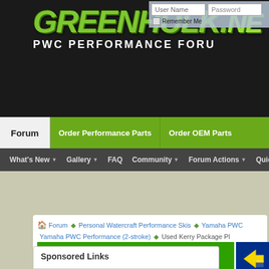[Figure (screenshot): GreenHulk.net PWC Performance Forum website header with logo, login fields, navigation tabs (Forum, Order Performance Parts, Order OEM Parts), and secondary navigation bar (What's New, Gallery, FAQ, Community, Forum Actions, Quick Links)]
Forum ▶ Personal Watercraft Performance Skis ▶ Yamaha PWC ▶ Yamaha PWC Performance (2-stroke) ▶ Used Kerry Package Pl...
[Figure (screenshot): Performance Parts Store banner advertisement - green banner with text 'Click Here To Visit Our Performance Parts Store pwcperformance.com' with checkered pattern, and blue banner section with arrow icon]
Sponsored Links